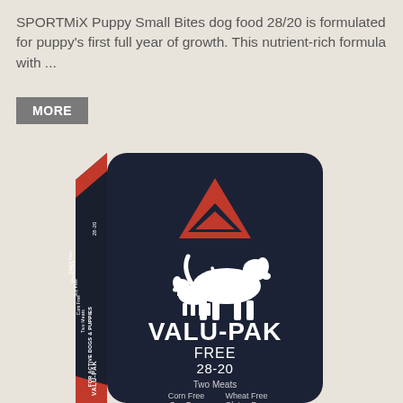SPORTMiX Puppy Small Bites dog food 28/20 is formulated for puppy's first full year of growth. This nutrient-rich formula with ...
[Figure (photo): Product bag of Valu-Pak Free 28-20 dog food on a dark navy background, featuring a red and white triangle logo, white silhouette of two dogs, and text: VALU-PAK FREE 28-20, Two Meats, Corn Free, Soy Free, Wheat Free, Gluten Free. Left spine text reads: FOR ACTIVE DOGS & PUPPIES, Two Meats, Corn Free, Soy Free, Wheat Free, Gluten Free. Small Omega logo at bottom.]